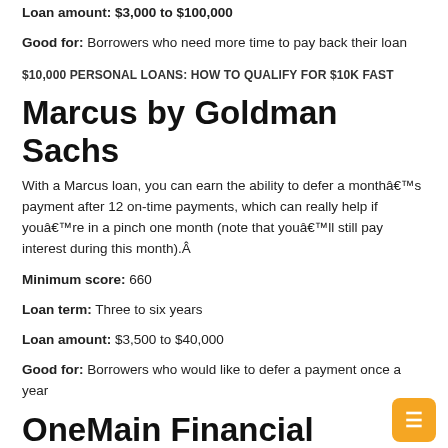Loan amount: $3,000 to $100,000
Good for: Borrowers who need more time to pay back their loan
$10,000 PERSONAL LOANS: HOW TO QUALIFY FOR $10K FAST
Marcus by Goldman Sachs
With a Marcus loan, you can earn the ability to defer a monthâ€™s payment after 12 on-time payments, which can really help if youâ€™re in a pinch one month (note that youâ€™ll still pay interest during this month).Â
Minimum score: 660
Loan term: Three to six years
Loan amount: $3,500 to $40,000
Good for: Borrowers who would like to defer a payment once a year
OneMain Financial